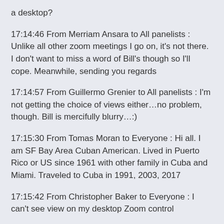a desktop?
17:14:46 From  Merriam Ansara  to  All panelists : Unlike all other zoom meetings I go on, it's not there.  I don't want to miss a word of Bill's though so I'll cope.  Meanwhile, sending you regards
17:14:57 From  Guillermo Grenier  to  All panelists : I'm not getting the choice of views either…no problem, though. Bill is mercifully blurry…:)
17:15:30 From  Tomas Moran  to  Everyone : Hi all.  I am SF Bay Area Cuban American. Lived in Puerto Rico or US since 1961 with other family in Cuba and Miami. Traveled to Cuba in 1991, 2003, 2017
17:15:42 From  Christopher Baker  to  Everyone : I can't see view on my desktop Zoom control
17:16:30 From  Raul Galvan  to  All panelists : There is no view on mine either.  Only expand or minimize
17:17:40 From  Lois Howes  to  All panelists : My last clients